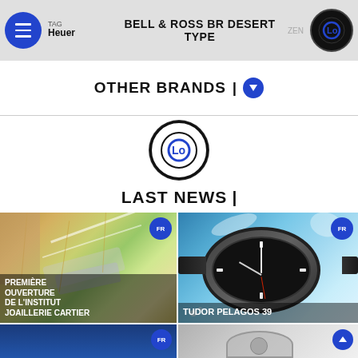BELL & ROSS BR DESERT TYPE
OTHER BRANDS |
[Figure (logo): Circular black logo with stylized L and O letters in blue, centered on the page]
LAST NEWS |
[Figure (photo): Close-up of a woman looking at diamond/crystal jewelry necklace with caption: PREMIÈRE OUVERTURE DE L'INSTITUT JOAILLERIE CARTIER, FR badge top right]
[Figure (photo): Tudor Pelagos 39 watch splashing in water with FR badge top right, caption: TUDOR PELAGOS 39]
[Figure (photo): Blue background card with FR badge, partial image visible at bottom left]
[Figure (photo): Watch crown/detail on grey/silver background with scroll-up badge at top right, partial image visible at bottom right]